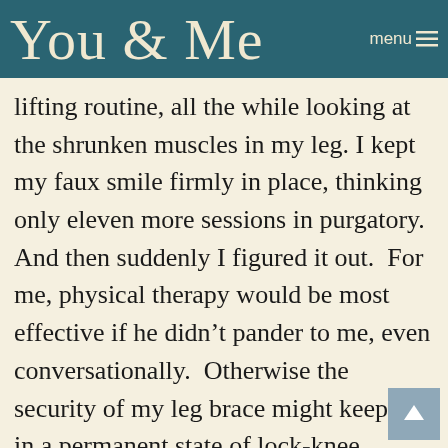You & Me
lifting routine, all the while looking at the shrunken muscles in my leg. I kept my faux smile firmly in place, thinking only eleven more sessions in purgatory. And then suddenly I figured it out.  For me, physical therapy would be most effective if he didn't pander to me, even conversationally.  Otherwise the security of my leg brace might keep me in a permanent state of lock-knee. Maybe Jeff wasn't so dim after all. Patients who rant might try harder. Maybe I'll ask him his